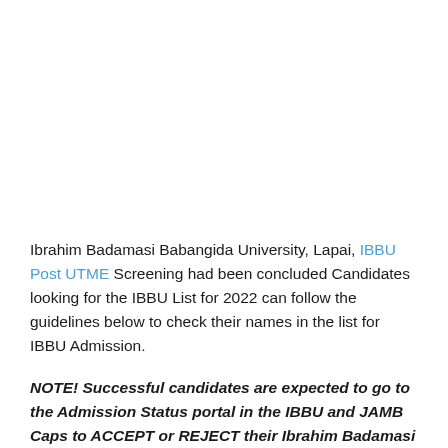Ibrahim Badamasi Babangida University, Lapai, IBBU Post UTME Screening had been concluded Candidates looking for the IBBU List for 2022 can follow the guidelines below to check their names in the list for IBBU Admission.
NOTE! Successful candidates are expected to go to the Admission Status portal in the IBBU and JAMB Caps to ACCEPT or REJECT their Ibrahim Badamasi Babangida